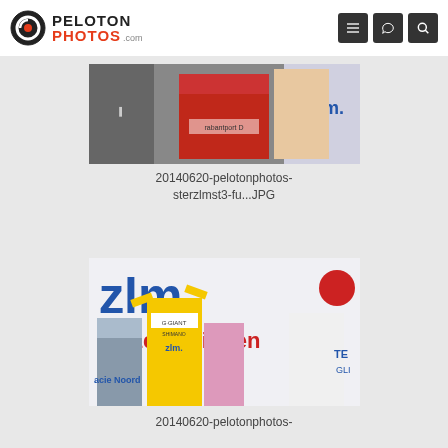PelotonPhotos.com
[Figure (photo): Cycling podium scene with riders in red jerseys and officials, ZLM branding visible]
20140620-pelotonphotos-sterzlmst3-fu...JPG
[Figure (photo): Cyclist in yellow jersey raising arms on podium with ZLM verzekeringen branding, accompanied by officials and pageant winners]
20140620-pelotonphotos-